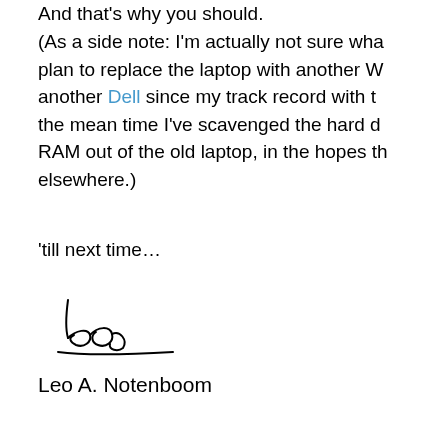And that's why you should.
(As a side note: I'm actually not sure wha plan to replace the laptop with another W another Dell since my track record with t the mean time I've scavenged the hard d RAM out of the old laptop, in the hopes th elsewhere.)
'till next time…
[Figure (illustration): Handwritten signature of Leo A. Notenboom with underline]
Leo A. Notenboom